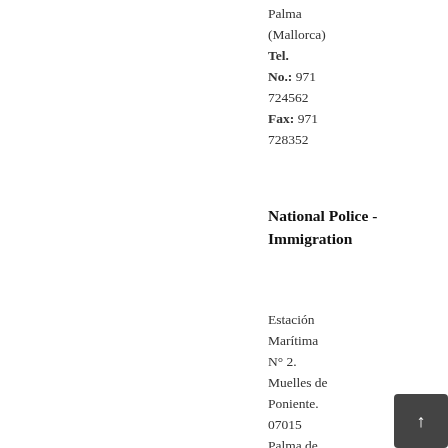Palma (Mallorca) Tel. No.: 971 724562 Fax: 971 728352
National Police - Immigration
Estación Marítima N° 2. Muelles de Poniente. 07015 Palma de Mallorca Tel.